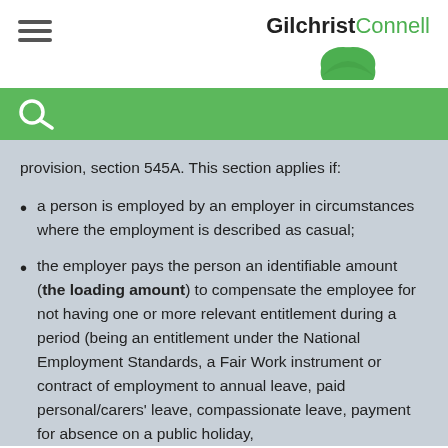Gilchrist Connell
provision, section 545A. This section applies if:
a person is employed by an employer in circumstances where the employment is described as casual;
the employer pays the person an identifiable amount (the loading amount) to compensate the employee for not having one or more relevant entitlement during a period (being an entitlement under the National Employment Standards, a Fair Work instrument or contract of employment to annual leave, paid personal/carers' leave, compassionate leave, payment for absence on a public holiday,